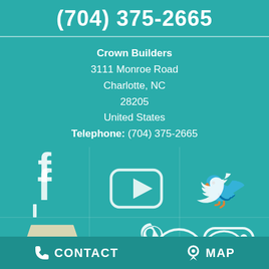(704) 375-2665
Crown Builders
3111 Monroe Road
Charlotte, NC
28205
United States
Telephone: (704) 375-2665
[Figure (infographic): Six social media icons in a 2x3 grid: Facebook, YouTube, Twitter (top row); Google My Business, Pinterest, Instagram (bottom row)]
CONTACT   MAP